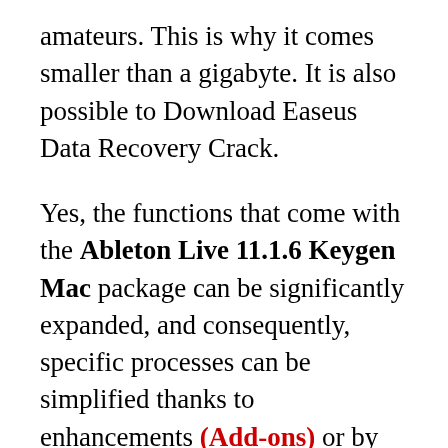amateurs. This is why it comes smaller than a gigabyte. It is also possible to Download Easeus Data Recovery Crack.
Yes, the functions that come with the Ableton Live 11.1.6 Keygen Mac package can be significantly expanded, and consequently, specific processes can be simplified thanks to enhancements (Add-ons) or by with the latest version, the Suite that comes with everything included. Start windows can use in the two options “Session View” helps DJs and musicians play around, “Arrangement View” is utilized for mixing and arranging. Through this software, you can alter the frequency of the sound and its variety of effects.